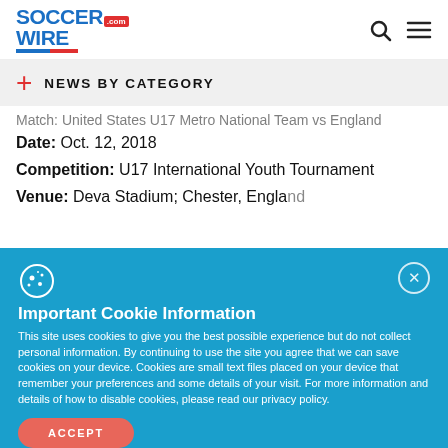[Figure (logo): SoccerWire.com logo in blue with red stripe and red .com badge]
+ NEWS BY CATEGORY
Match: United States U17 Metro National Team vs England
Date: Oct. 12, 2018
Competition: U17 International Youth Tournament
Venue: Deva Stadium; Chester, England
Important Cookie Information
This site uses cookies to give you the best possible experience but do not collect personal information. By continuing to use the site you agree that we can save cookies on your device. Cookies are small text files placed on your device that remember your preferences and some details of your visit. For more information and details of how to disable cookies, please read our privacy policy.
ACCEPT